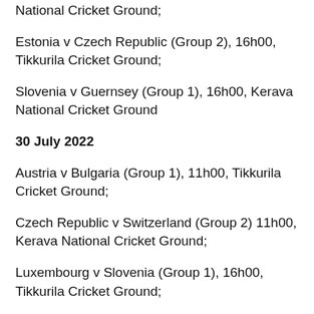National Cricket Ground;
Estonia v Czech Republic (Group 2), 16h00, Tikkurila Cricket Ground;
Slovenia v Guernsey (Group 1), 16h00, Kerava National Cricket Ground
30 July 2022
Austria v Bulgaria (Group 1), 11h00, Tikkurila Cricket Ground;
Czech Republic v Switzerland (Group 2) 11h00, Kerava National Cricket Ground;
Luxembourg v Slovenia (Group 1), 16h00, Tikkurila Cricket Ground;
France v Estonia (Group 2), 16h00, Kerava National Cricket Ground;